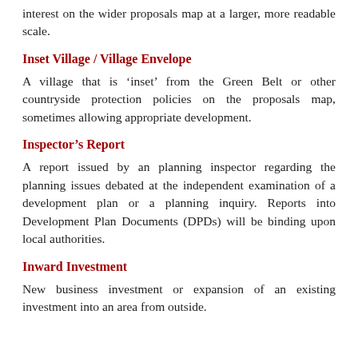interest on the wider proposals map at a larger, more readable scale.
Inset Village / Village Envelope
A village that is ‘inset’ from the Green Belt or other countryside protection policies on the proposals map, sometimes allowing appropriate development.
Inspector’s Report
A report issued by an planning inspector regarding the planning issues debated at the independent examination of a development plan or a planning inquiry. Reports into Development Plan Documents (DPDs) will be binding upon local authorities.
Inward Investment
New business investment or expansion of an existing investment into an area from outside.